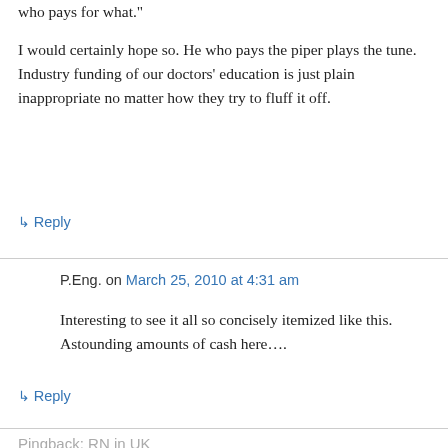who pays for what."
I would certainly hope so. He who pays the piper plays the tune. Industry funding of our doctors' education is just plain inappropriate no matter how they try to fluff it off.
↳ Reply
P.Eng. on March 25, 2010 at 4:31 am
Interesting to see it all so concisely itemized like this. Astounding amounts of cash here....
↳ Reply
Pingback: RN in UK